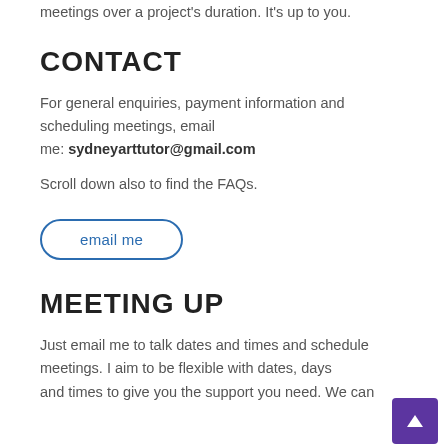meetings over a project's duration. It's up to you.
CONTACT
For general enquiries, payment information and scheduling meetings, email me: sydneyarttutor@gmail.com
Scroll down also to find the FAQs.
[Figure (other): Blue rounded rectangle button with text 'email me']
MEETING UP
Just email me to talk dates and times and schedule meetings. I aim to be flexible with dates, days and times to give you the support you need. We can